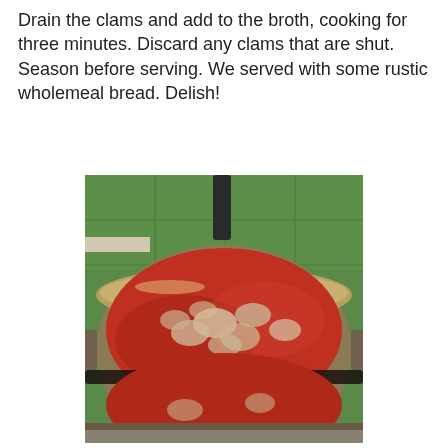Drain the clams and add to the broth, cooking for three minutes. Discard any clams that are shut. Season before serving. We served with some rustic wholemeal bread. Delish!
[Figure (photo): A large stainless steel pan/wok on a stove filled with a red tomato-based broth containing clams/beans, set against a green-tiled kitchen wall background.]